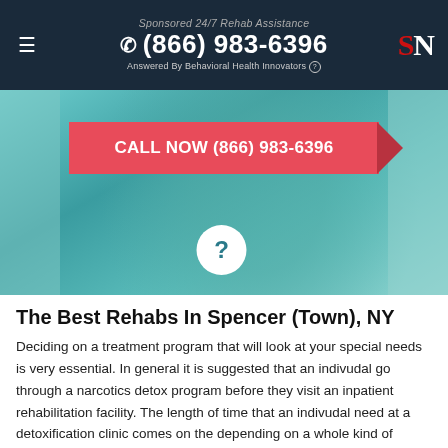Sponsored 24/7 Rehab Assistance
☎ (866) 983-6396
Answered By Behavioral Health Innovators ⓘ
[Figure (screenshot): Hero image showing a teal/turquoise background with a blurred person silhouette, a pink 'CALL NOW (866) 983-6396' button with arrow, and a white circle with question mark below it.]
The Best Rehabs In Spencer (Town), NY
Deciding on a treatment program that will look at your special needs is very essential. In general it is suggested that an indivudal go through a narcotics detox program before they visit an inpatient rehabilitation facility. The length of time that an indivudal need at a detoxification clinic comes on the depending on a whole kind of